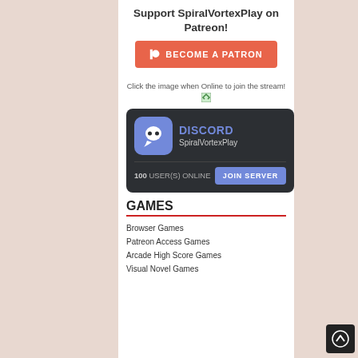Support SpiralVortexPlay on Patreon!
[Figure (other): Orange Patreon 'BECOME A PATRON' button with Patreon icon]
Click the image when Online to join the stream!
[Figure (other): Discord widget showing SpiralVortexPlay server with 100 USER(S) ONLINE and JOIN SERVER button]
GAMES
Browser Games
Patreon Access Games
Arcade High Score Games
Visual Novel Games